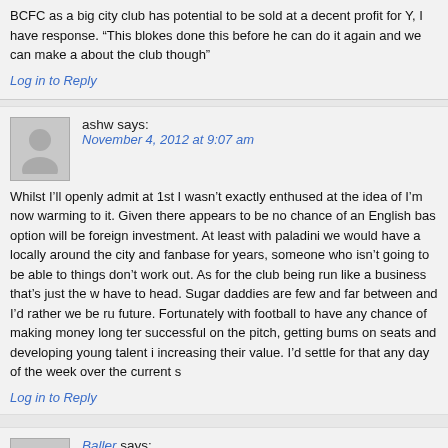BCFC as a big city club has potential to be sold at a decent profit for Y, I have response. “This blokes done this before he can do it again and we can make about the club though”
Log in to Reply
ashw says:
November 4, 2012 at 9:07 am
Whilst I’ll openly admit at 1st I wasn’t exactly enthused at the idea of I’m now warming to it. Given there appears to be no chance of an English bas option will be foreign investment. At least with paladini we would have a locally around the city and fanbase for years, someone who isn’t going to be able to things don’t work out. As for the club being run like a business that’s just the w have to head. Sugar daddies are few and far between and I’d rather we be ru future. Fortunately with football to have any chance of making money long ter successful on the pitch, getting bums on seats and developing young talent i increasing their value. I’d settle for that any day of the week over the current s
Log in to Reply
Baller says:
November 4, 2012 at 9:22 am
Football fans are like no other customers. We endure poor quality lo We pay for the possibility of excellence through affection. It is a symbiotic rela will feed the host rather than try to capture it.